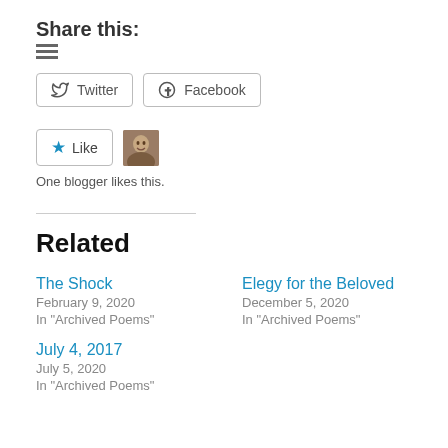Share this:
[Figure (infographic): Share buttons for Twitter and Facebook with icons]
[Figure (infographic): Like button with star icon and blogger avatar thumbnail]
One blogger likes this.
Related
The Shock
February 9, 2020
In "Archived Poems"
Elegy for the Beloved
December 5, 2020
In "Archived Poems"
July 4, 2017
July 5, 2020
In "Archived Poems"